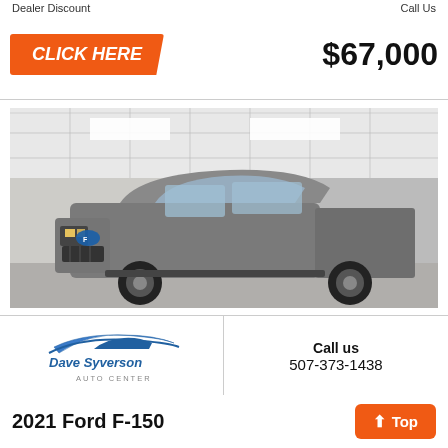Dealer Discount
Call Us
CLICK HERE
$67,000
[Figure (photo): Gray 2021 Ford F-150 pickup truck photographed inside a dealership showroom with tiled ceiling and bright lighting.]
[Figure (logo): Dave Syverson Auto Center logo with blue swoosh/car design above the text.]
Call us
507-373-1438
2021 Ford F-150
Top